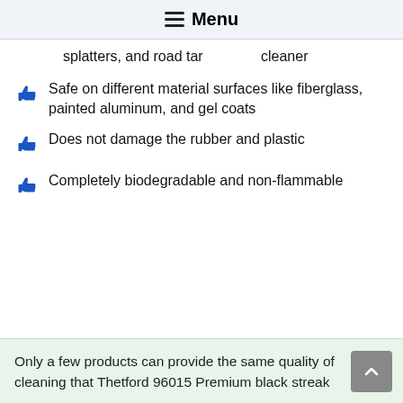Menu
splatters, and road tar
cleaner
Safe on different material surfaces like fiberglass, painted aluminum, and gel coats
Does not damage the rubber and plastic
Completely biodegradable and non-flammable
Only a few products can provide the same quality of cleaning that Thetford 96015 Premium black streak